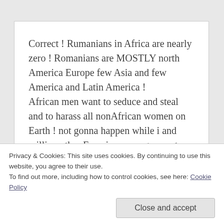Correct ! Rumanians in Africa are nearly zero ! Romanians are MOSTLY north America Europe few Asia and few America and Latin America ! African men want to seduce and steal and to harass all nonAfrican women on Earth ! not gonna happen while i and million other Eurasians men gonna stop African creeps ! I dont go and steal black women anywhere on Earth ! neither Asian women ! If u steal
Privacy & Cookies: This site uses cookies. By continuing to use this website, you agree to their use.
To find out more, including how to control cookies, see here: Cookie Policy
Close and accept